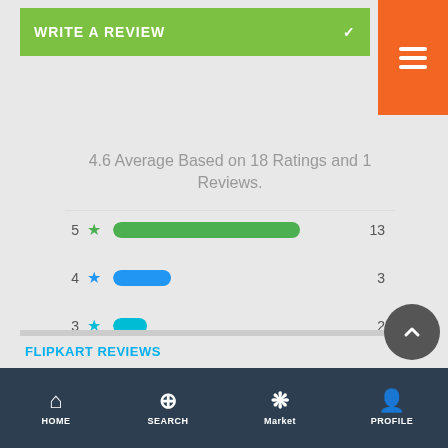[Figure (screenshot): Green 'WRITE A REVIEW' button with checkmark]
[Figure (screenshot): Orange hamburger menu button top right]
4.6 Average Based on 18 Ratings and 1 Reviews.
[Figure (bar-chart): Star rating distribution]
FLIPKART REVIEWS
HOME   SEARCH   Market   PROFILE